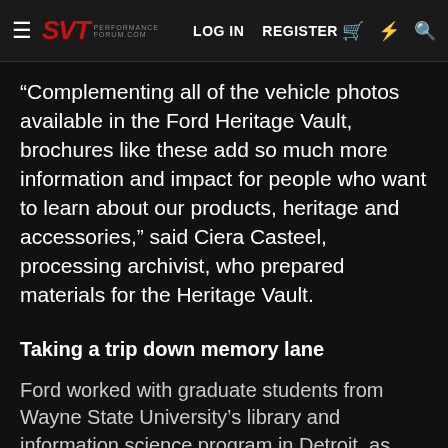SVT Performance Forum — LOG IN  REGISTER
“Complementing all of the vehicle photos available in the Ford Heritage Vault, brochures like these add so much more information and impact for people who want to learn about our products, heritage and accessories,” said Ciera Casteel, processing archivist, who prepared materials for the Heritage Vault.
Taking a trip down memory lane
Ford worked with graduate students from Wayne State University’s library and information science program in Detroit, as well as Ford employees and